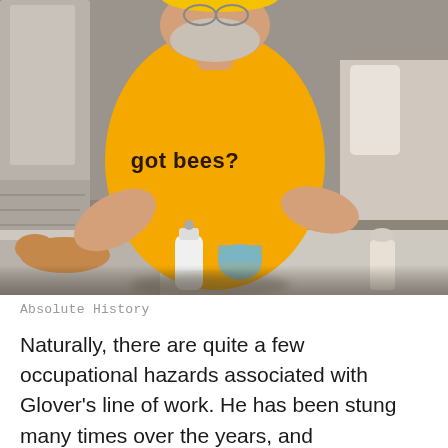[Figure (photo): A smiling man wearing a yellow 'got bees?' t-shirt and yellow cap, leaning over a table with a white bottle and blue jar. A dog rests in the background.]
Absolute History
Naturally, there are quite a few occupational hazards associated with Glover's line of work. He has been stung many times over the years, and